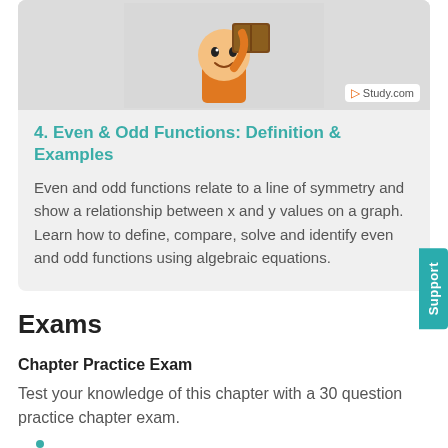[Figure (illustration): Cartoon character holding a brown book/object, with Study.com watermark badge in bottom right corner of image]
4. Even & Odd Functions: Definition & Examples
Even and odd functions relate to a line of symmetry and show a relationship between x and y values on a graph. Learn how to define, compare, solve and identify even and odd functions using algebraic equations.
Exams
Chapter Practice Exam
Test your knowledge of this chapter with a 30 question practice chapter exam.